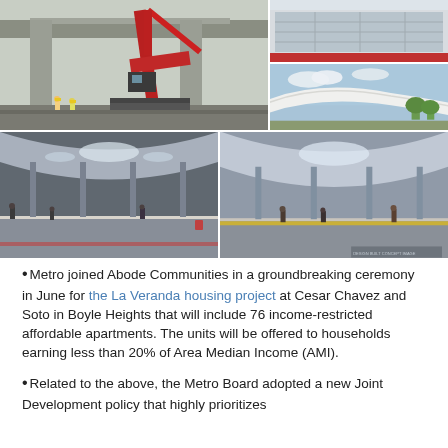[Figure (photo): Collage of five construction and transit station photos: large crane demolishing concrete structure (top-left), modern transit station exterior (top-right upper), architectural rendering of canopy structure (top-right lower), two interior platform views of transit station (bottom row)]
Metro joined Abode Communities in a groundbreaking ceremony in June for the La Veranda housing project at Cesar Chavez and Soto in Boyle Heights that will include 76 income-restricted affordable apartments. The units will be offered to households earning less than 20% of Area Median Income (AMI).
Related to the above, the Metro Board adopted a new Joint Development policy that highly prioritizes...